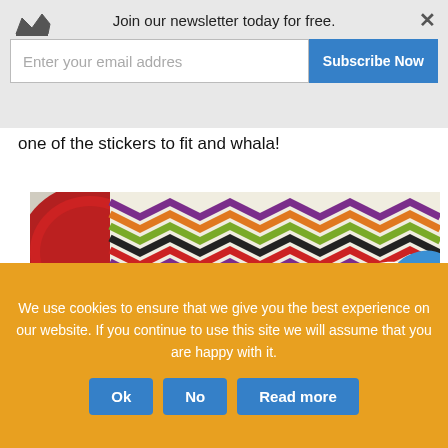[Figure (screenshot): Newsletter subscription banner with crown icon, email input field, Subscribe Now button, and X close button]
one of the stickers to fit and whala!
[Figure (photo): Photo of a hand cutting colorful chevron-patterned paper with blue-handled scissors, with a red jar lid visible on the left]
We use cookies to ensure that we give you the best experience on our website. If you continue to use this site we will assume that you are happy with it.
Ok   No   Read more